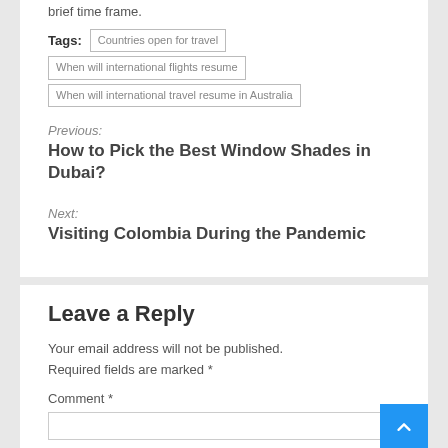brief time frame.
Tags: Countries open for travel | When will international flights resume | When will international travel resume in Australia
Previous:
How to Pick the Best Window Shades in Dubai?
Next:
Visiting Colombia During the Pandemic
Leave a Reply
Your email address will not be published. Required fields are marked *
Comment *